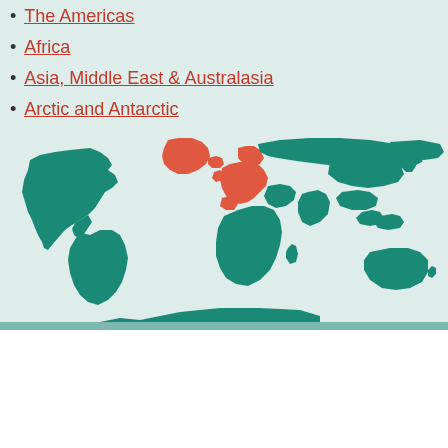The Americas
Africa
Asia, Middle East & Australasia
Arctic and Antarctic
[Figure (map): World map with most regions highlighted in teal/green and Europe plus Greenland highlighted in red/orange. The map shows geographic regions on a light blue-green background.]